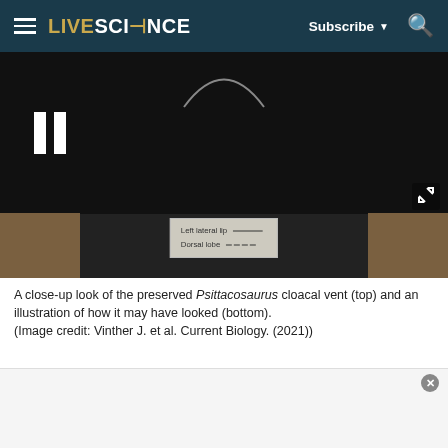LIVESCIENCE  Subscribe  🔍
[Figure (photo): A close-up image of preserved Psittacosaurus cloacal vent (top, black video frame with pause button) and an illustration of how it may have looked (bottom), showing labeled anatomical diagram with 'Left lateral lip' and 'Dorsal lobe' annotations.]
A close-up look of the preserved Psittacosaurus cloacal vent (top) and an illustration of how it may have looked (bottom). (Image credit: Vinther J. et al. Current Biology. (2021))
None of the reproductive soft tissues (like a penis) were preserved. So the researchers can't say whether the dinosaur was male or female. Even so, this